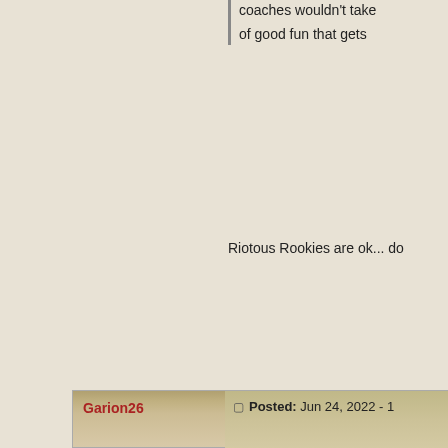coaches wouldn't take of good fun that gets
Riotous Rookies are ok... do
Garion26
Posted: Jun 24, 2022 - 1
Joined: Nov 28, 2021
I'm a little surprised riotous r I think it's very good value o
My comment on stars is I do are too prevalent. It's a han highly effective. Two of whic
Stars were overcosted in LR wizard, and the bribe, and m are now selected about as